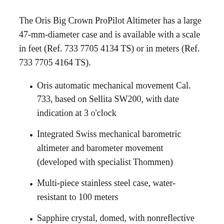The Oris Big Crown ProPilot Altimeter has a large 47-mm-diameter case and is available with a scale in feet (Ref. 733 7705 4134 TS) or in meters (Ref. 733 7705 4164 TS).
Oris automatic mechanical movement Cal. 733, based on Sellita SW200, with date indication at 3 o'clock
Integrated Swiss mechanical barometric altimeter and barometer movement (developed with specialist Thommen)
Multi-piece stainless steel case, water-resistant to 100 meters
Sapphire crystal, domed, with nonreflective coating